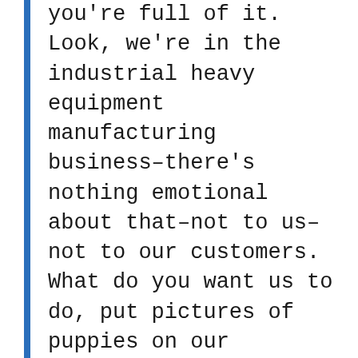you're full of it. Look, we're in the industrial heavy equipment manufacturing business–there's nothing emotional about that–not to us–not to our customers. What do you want us to do, put pictures of puppies on our website? Yeah, that'll make our customers go "awwww",  then pick up the phone to order one of our industrial incinerators. We're men selling steel, smoke, fire and destruction to men, not